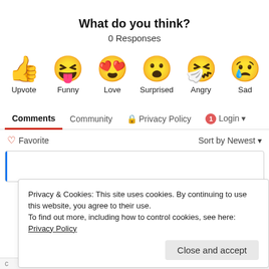What do you think?
0 Responses
[Figure (illustration): Six emoji reaction buttons: thumbs up (Upvote), laughing with tongue out (Funny), heart eyes (Love), surprised face (Surprised), angry crying face (Angry), sad crying face (Sad)]
Comments   Community   🔒 Privacy Policy   1 Login ▾
♡ Favorite
Sort by Newest ▾
Privacy & Cookies: This site uses cookies. By continuing to use this website, you agree to their use.
To find out more, including how to control cookies, see here: Privacy Policy
Close and accept